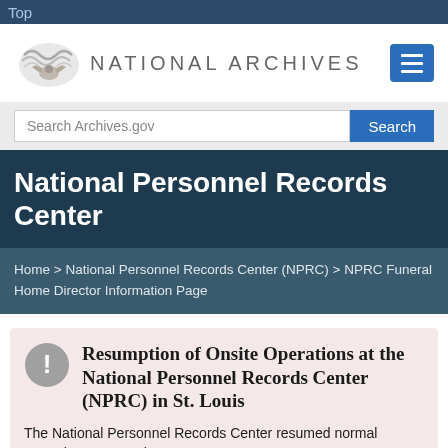Top
[Figure (logo): National Archives logo with wave/eagle graphic and text 'NATIONAL ARCHIVES']
Search Archives.gov
National Personnel Records Center
Home > National Personnel Records Center (NPRC) > NPRC Funeral Home Director Information Page
Resumption of Onsite Operations at the National Personnel Records Center (NPRC) in St. Louis
The National Personnel Records Center resumed normal operations on March